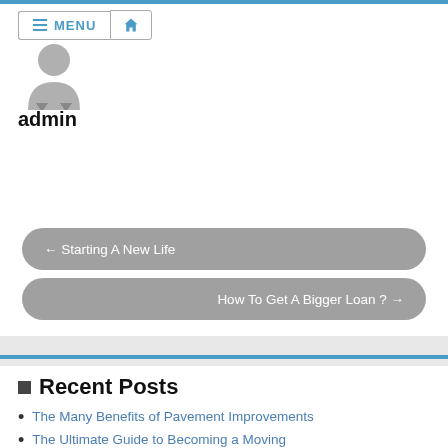[Figure (screenshot): Website navigation menu bar with hamburger MENU button and home icon button]
[Figure (illustration): Gray avatar/user icon placeholder image]
admin
← Starting A New Life
How To Get A Bigger Loan ? →
Recent Posts
The Many Benefits of Pavement Improvements
The Ultimate Guide to Becoming a Moving